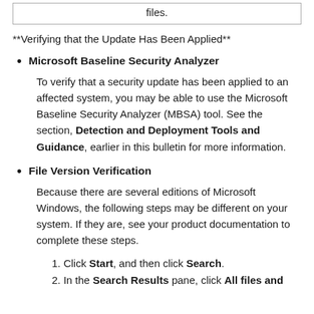files.
**Verifying that the Update Has Been Applied**
Microsoft Baseline Security Analyzer
To verify that a security update has been applied to an affected system, you may be able to use the Microsoft Baseline Security Analyzer (MBSA) tool. See the section, Detection and Deployment Tools and Guidance, earlier in this bulletin for more information.
File Version Verification
Because there are several editions of Microsoft Windows, the following steps may be different on your system. If they are, see your product documentation to complete these steps.
1. Click Start, and then click Search.
2. In the Search Results pane, click All files and